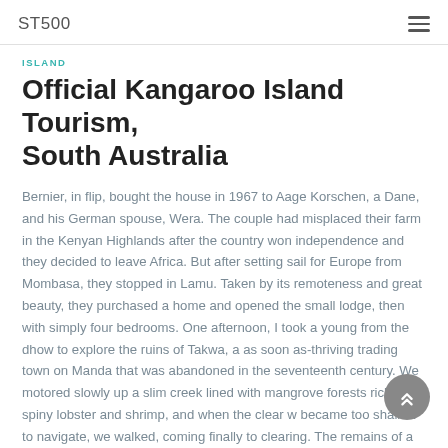ST500
ISLAND
Official Kangaroo Island Tourism, South Australia
Bernier, in flip, bought the house in 1967 to Aage Korschen, a Dane, and his German spouse, Wera. The couple had misplaced their farm in the Kenyan Highlands after the country won independence and they decided to leave Africa. But after setting sail for Europe from Mombasa, they stopped in Lamu. Taken by its remoteness and great beauty, they purchased a home and opened the small lodge, then with simply four bedrooms. One afternoon, I took a young from the dhow to explore the ruins of Takwa, a as soon as-thriving trading town on Manda that was abandoned in the seventeenth century. We motored slowly up a slim creek lined with mangrove forests rich in spiny lobster and shrimp, and when the clear w became too shallow to navigate, we walked, coming finally to clearing. The remains of a grand mosque dominate the site, its out